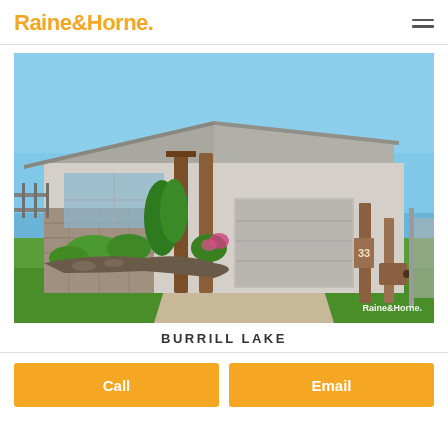Raine&Horne.
[Figure (photo): Exterior photo of a modern single-storey house with angled roofline, timber feature columns, stone garden wall, manicured lawn, and mailbox numbered 33. Raine&Horne watermark in bottom-right corner.]
BURRILL LAKE
Call
Email